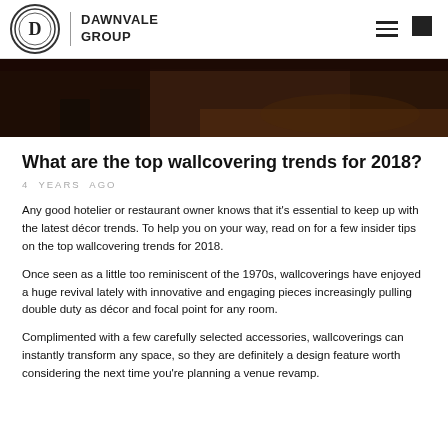DAWNVALE GROUP
[Figure (photo): Dark interior photo of a restaurant or hotel space with wooden floor and furniture]
What are the top wallcovering trends for 2018?
4  YEARS  AGO
Any good hotelier or restaurant owner knows that it’s essential to keep up with the latest décor trends. To help you on your way, read on for a few insider tips on the top wallcovering trends for 2018.
Once seen as a little too reminiscent of the 1970s, wallcoverings have enjoyed a huge revival lately with innovative and engaging pieces increasingly pulling double duty as décor and focal point for any room.
Complimented with a few carefully selected accessories, wallcoverings can instantly transform any space, so they are definitely a design feature worth considering the next time you’re planning a venue revamp.